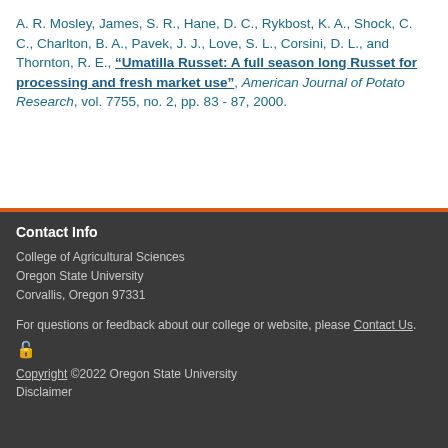A. R. Mosley, James, S. R., Hane, D. C., Rykbost, K. A., Shock, C. C., Charlton, B. A., Pavek, J. J., Love, S. L., Corsini, D. L., and Thornton, R. E., "Umatilla Russet: A full season long Russet for processing and fresh market use", American Journal of Potato Research, vol. 7755, no. 2, pp. 83 - 87, 2000.
Contact Info
College of Agricultural Sciences
Oregon State University
Corvallis, Oregon 97331
For questions or feedback about our college or website, please Contact Us.
Copyright ©2022 Oregon State University
Disclaimer